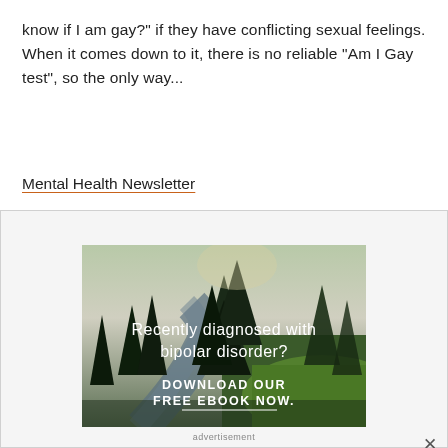know if I am gay?" if they have conflicting sexual feelings. When it comes down to it, there is no reliable "Am I Gay test", so the only way...
Mental Health Newsletter
[Figure (photo): Advertisement banner showing a forest and stream landscape with text 'Recently diagnosed with bipolar disorder? DOWNLOAD OUR FREE EBOOK NOW.' overlaid in white text on the nature photo.]
advertisement